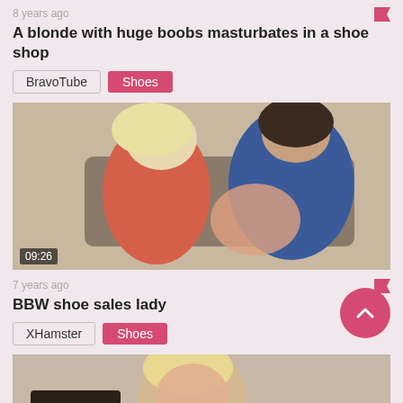8 years ago
A blonde with huge boobs masturbates in a shoe shop
BravoTube  Shoes
[Figure (photo): Video thumbnail showing two women on a couch, duration 09:26]
7 years ago
BBW shoe sales lady
XHamster  Shoes
[Figure (photo): Video thumbnail showing blonde woman, partially visible]